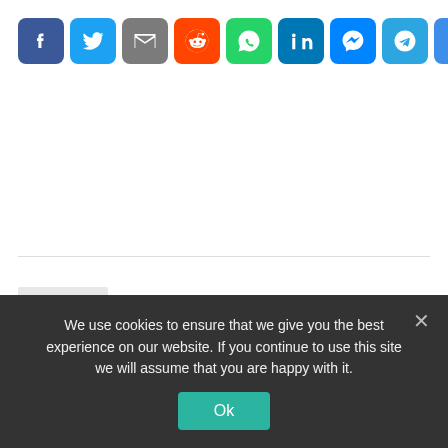[Figure (other): Social share buttons: Facebook (blue), Twitter (light blue), Email (grey), Reddit (orange), WhatsApp (green), LinkedIn (blue), Messenger (blue), Telegram (teal), More/Share (blue)]
[Figure (other): Previous article navigation block with grey thumbnail placeholder, arrow label PREVIOUS ARTICLE, and article title: What is parental involvement theory?]
We use cookies to ensure that we give you the best experience on our website. If you continue to use this site we will assume that you are happy with it.